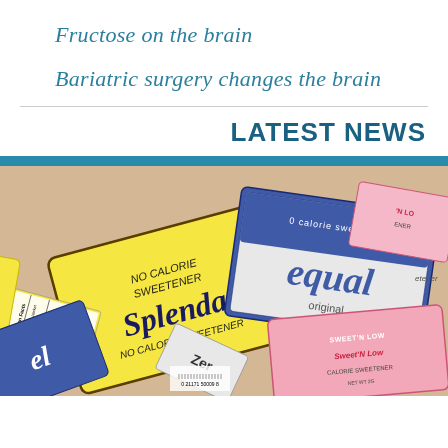Fructose on the brain
Bariatric surgery changes the brain
LATEST NEWS
[Figure (photo): Photograph of artificial sweetener packets including Splenda (yellow), Equal (blue), Sweet'N Low (pink), and Zero packets scattered together]